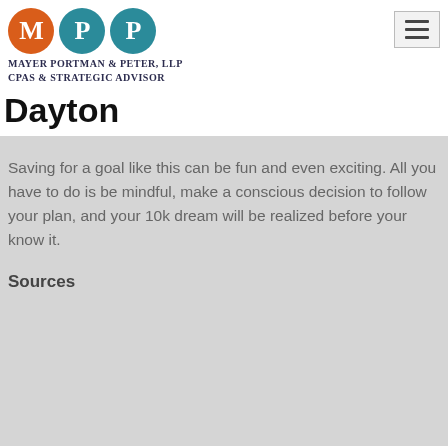[Figure (logo): Mayer Portman & Peter LLP logo with three circles: orange M, teal P, teal P]
MAYER PORTMAN & PETER, LLP
CPAs & STRATEGIC ADVISOR
Dayton
Saving for a goal like this can be fun and even exciting. All you have to do is be mindful, make a conscious decision to follow your plan, and your 10k dream will be realized before your know it.
Sources